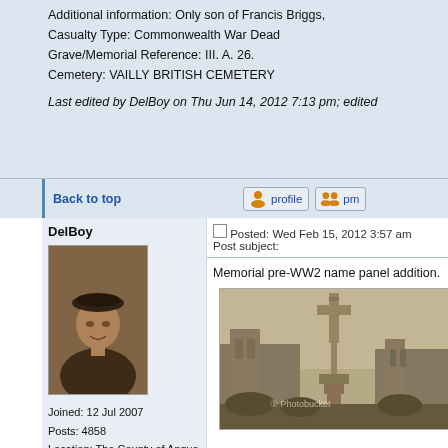Additional information: Only son of Francis Briggs,
Casualty Type: Commonwealth War Dead
Grave/Memorial Reference: III. A. 26.
Cemetery: VAILLY BRITISH CEMETERY

Last edited by DelBoy on Thu Jun 14, 2012 7:13 pm; edited
Back to top
DelBoy
[Figure (photo): Black and white portrait photo of a young person wearing a beret, used as forum avatar for user DelBoy]
Joined: 12 Jul 2007
Posts: 4858
Location: The County of Angus
Posted: Wed Feb 15, 2012 3:57 am    Post subject:
Memorial pre-WW2 name panel addition.
[Figure (photo): Sepia-toned historical photograph of a war memorial cross monument with Gothic cathedral buildings in the background. A Photobucket watermark is visible.]